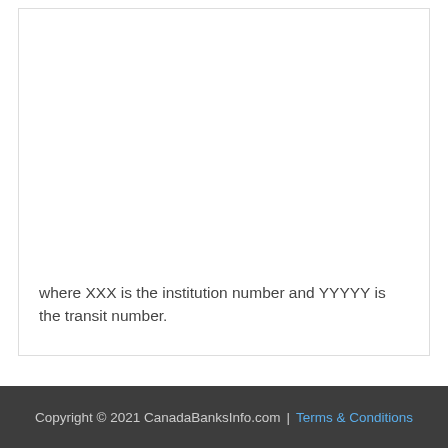where XXX is the institution number and YYYYY is the transit number.
Copyright © 2021 CanadaBanksInfo.com | Terms & Conditions